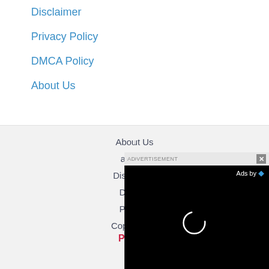Disclaimer
Privacy Policy
DMCA Policy
About Us
About Us
adxfire
Disclaimer
DMC...
Priva...
Copyright -
Profi...
[Figure (screenshot): Advertisement overlay with black background, 'ADVERTISEMENT' label, close button (x), 'Ads by' text with blue dot, and a loading spinner circle]